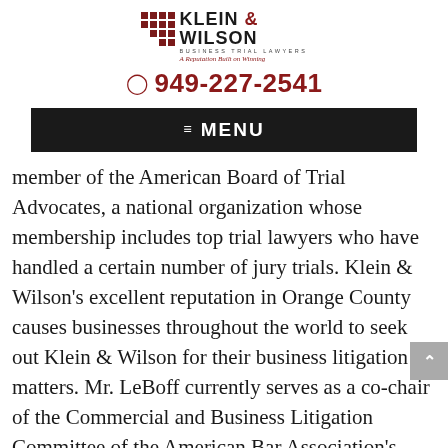[Figure (logo): Klein & Wilson Business Trial Lawyers logo with grid icon and tagline 'A Reputation Built on Winning']
☎ 949-227-2541
≡ MENU
member of the American Board of Trial Advocates, a national organization whose membership includes top trial lawyers who have handled a certain number of jury trials. Klein & Wilson's excellent reputation in Orange County causes businesses throughout the world to seek out Klein & Wilson for their business litigation matters. Mr. LeBoff currently serves as a co-chair of the Commercial and Business Litigation Committee of the American Bar Association's Litigation Section. Mike serves as the chair-